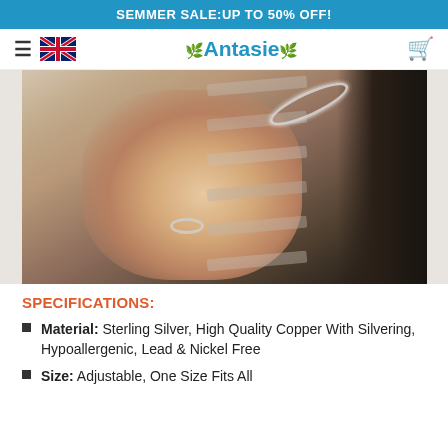SEMMER SALE:UP TO 50% OFF!
Antasie
[Figure (photo): A person's hand wearing a silver feather cuff bracelet on the wrist and a silver ring on a finger, with a dark sleeve visible and wooden slats in the background.]
SPECIFICATIONS:
Material: Sterling Silver, High Quality Copper With Silvering, Hypoallergenic, Lead & Nickel Free
Size: Adjustable, One Size Fits All